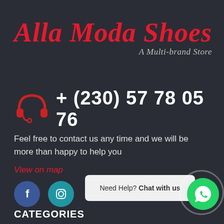Alla Moda Shoes
A Multi-brand Store
[Figure (illustration): Headset/customer support icon in red, followed by phone number + (230) 57 78 05 76]
Feel free to contact us any time and we will be more than happy to help you
View on map
[Figure (logo): Facebook circular blue icon and Instagram circular teal icon]
Need Help? Chat with us
[Figure (logo): WhatsApp green circular button with white phone/chat icon]
CATEGORIES